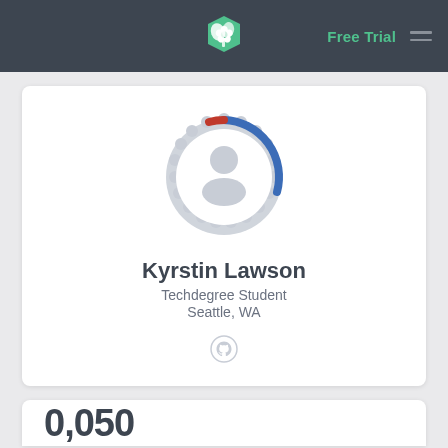Free Trial
[Figure (illustration): Treehouse logo icon (green leaf/plant icon) centered in dark navbar]
[Figure (illustration): User profile avatar with decorative scalloped border ring; a progress arc overlay with blue and red segments indicating completion status]
Kyrstin Lawson
Techdegree Student
Seattle, WA
[Figure (logo): GitHub icon (Octocat logo) in light gray]
0,050